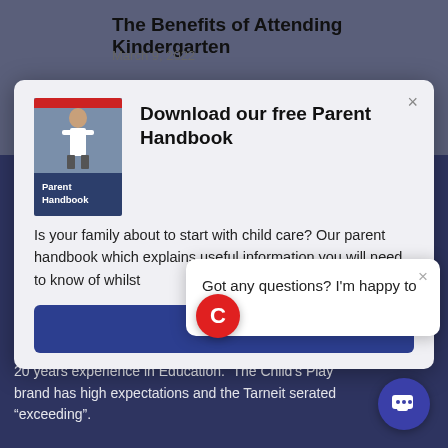The Benefits of Attending Kindergarten
March 9, 2022
[Figure (screenshot): Modal popup for downloading a free Parent Handbook, showing book cover image, title, descriptive text, and a download button]
Download our free Parent Handbook
Is your family about to start with child care? Our parent handbook which explains useful information you will need to know of whilst your child att...
Do
[Figure (infographic): Small chat popup with red C circle icon and text: Got any questions? I'm happy to help.]
Got any questions? I'm happy to help.
Child's Play Early learning is ... Johnson that have over 20 years experience in Education. The Child's Play brand has high expectations and the Tarneit se... rated "exceeding".